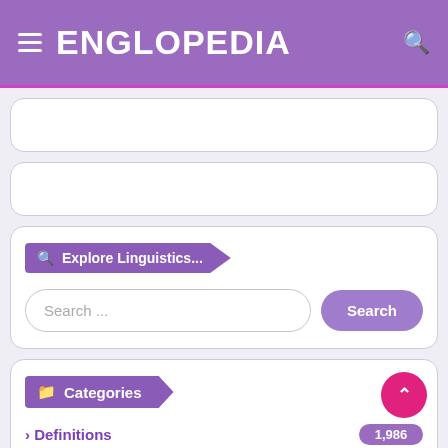ENGLOPEDIA
Explore Linguistics...
Search ...
Categories
Definitions 1,986